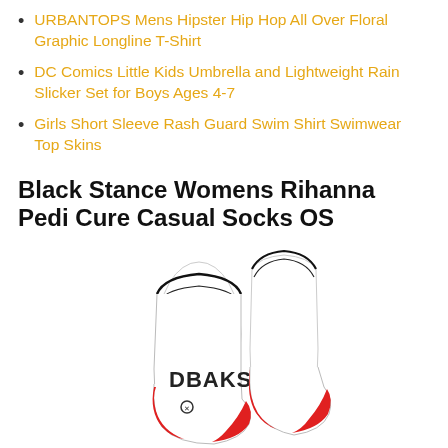URBANTOPS Mens Hipster Hip Hop All Over Floral Graphic Longline T-Shirt
DC Comics Little Kids Umbrella and Lightweight Rain Slicker Set for Boys Ages 4-7
Girls Short Sleeve Rash Guard Swim Shirt Swimwear Top Skins
Black Stance Womens Rihanna Pedi Cure Casual Socks OS
[Figure (photo): White crew socks with 'DBAKS' text in dark red/black letters and red heel/toe accents, shown as a pair from different angles.]